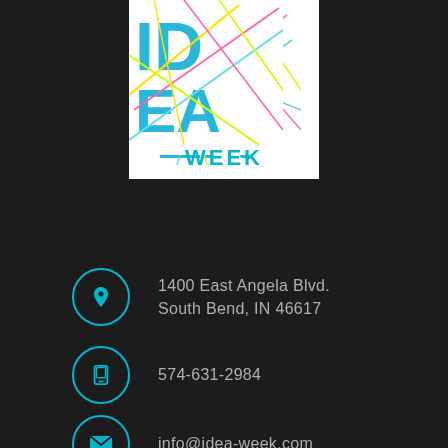[Figure (logo): IDEA WEEK logo: large stylized letters I, D, E, A in blue with colorful crossing lines on white background, with 'WEEK' in bold cyan below]
1400 East Angela Blvd.
South Bend, IN 46617
574-631-2984
info@idea-week.com